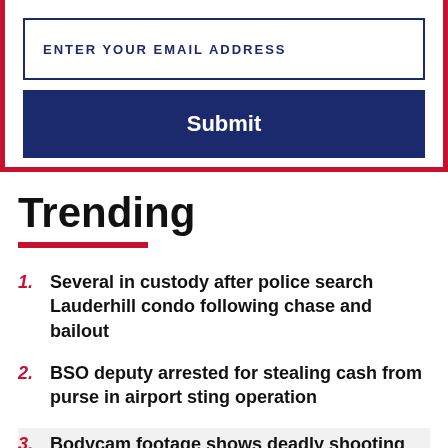[Figure (screenshot): Email subscription form with input field labeled 'ENTER YOUR EMAIL ADDRESS' and a dark blue Submit button, framed by red border on left, right, and bottom.]
Trending
Several in custody after police search Lauderhill condo following chase and bailout
BSO deputy arrested for stealing cash from purse in airport sting operation
Bodycam footage shows deadly shooting involving Orange County deputy